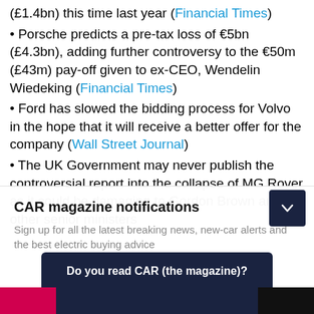(£1.4bn) this time last year (Financial Times)
• Porsche predicts a pre-tax loss of €5bn (£4.3bn), adding further controversy to the €50m (£43m) pay-off given to ex-CEO, Wendelin Wiedeking (Financial Times)
• Ford has slowed the bidding process for Volvo in the hope that it will receive a better offer for the company (Wall Street Journal)
• The UK Government may never publish the controversial report into the collapse of MG Rover as it could be damaging to Gordon Brown and other senior ministers
CAR magazine notifications
Sign up for all the latest breaking news, new-car alerts and the best electric buying advice
Do you read CAR (the magazine)?
Reply